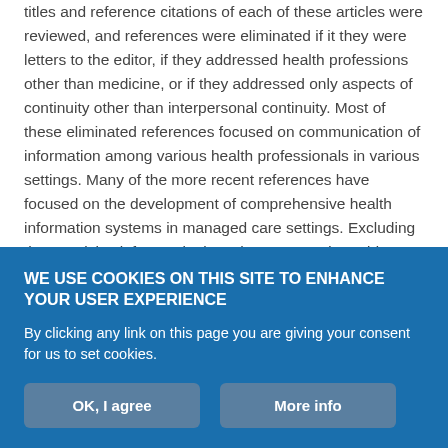titles and reference citations of each of these articles were reviewed, and references were eliminated if it they were letters to the editor, if they addressed health professions other than medicine, or if they addressed only aspects of continuity other than interpersonal continuity. Most of these eliminated references focused on communication of information among various health professionals in various settings. Many of the more recent references have focused on the development of comprehensive health information systems in managed care settings. Excluding these articles left 379 citations that appeared to address continuity as an attribute of the relationship between providers and patients in general medical care. I obtained
WE USE COOKIES ON THIS SITE TO ENHANCE YOUR USER EXPERIENCE
By clicking any link on this page you are giving your consent for us to set cookies.
OK, I agree
More info